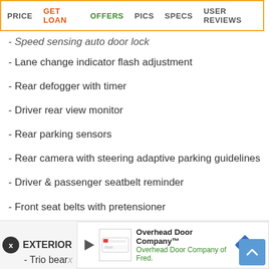PRICE  GET LOAN  OFFERS  PICS  SPECS  USER REVIEWS
- Speed sensing auto door lock
- Lane change indicator flash adjustment
- Rear defogger with timer
- Driver rear view monitor
- Rear parking sensors
- Rear camera with steering adaptive parking guidelines
- Driver & passenger seatbelt reminder
- Front seat belts with pretensioner
- Impact sensing auto door unlock
- Child seat anchor (ISOFIX)
- Driver & passenger airbags
- Burglar alarm
EXTERIOR
- Trio bear...